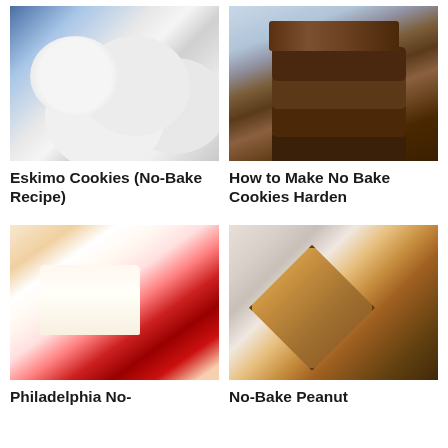[Figure (photo): Powdered sugar coated round cookie balls (Eskimo cookies) on a blue surface]
Eskimo Cookies (No-Bake Recipe)
[Figure (photo): Stacked chocolate no-bake cookies with a grey/ocean background]
How to Make No Bake Cookies Harden
[Figure (photo): Slice of Philadelphia no-bake cheesecake topped with cherry compote and mint leaf]
Philadelphia No-
[Figure (photo): No-bake peanut butter pie cut into slices on a white plate with chocolate drizzle]
No-Bake Peanut